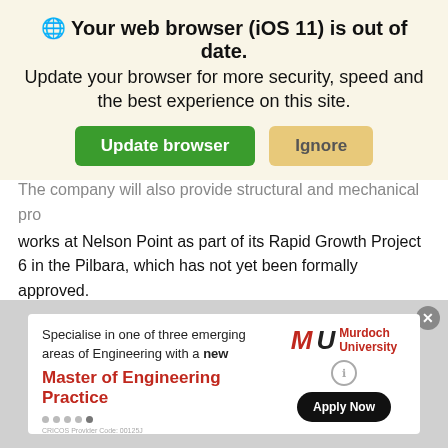🌐 Your web browser (iOS 11) is out of date. Update your browser for more security, speed and the best experience on this site. [Update browser] [Ignore]
The company will also provide structural and mechanical pro works at Nelson Point as part of its Rapid Growth Project 6 in the Pilbara, which has not yet been formally approved.
The mining giant last year approved Rapid Growth Project 5 after it dropped its bid for Rio.
For Rio, Monadelphous will install an automated alumina delivery system and associated infrastructure as part of the major's Boyne smelter development project.
[Figure (screenshot): Advertisement banner for Murdoch University Master of Engineering Practice with Apply Now button]